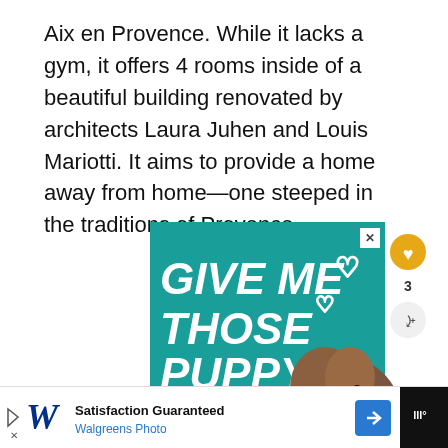Aix en Provence. While it lacks a gym, it offers 4 rooms inside of a beautiful building renovated by architects Laura Juhen and Louis Mariotti. It aims to provide a home away from home—one steeped in the traditions of Provence.
[Figure (other): Advertisement banner with teal background reading 'GIVE ME THOSE PUPPY DOG EYES' in bold white italic text with a dog photo and heart decorations. Includes a 'WHAT'S NEXT' panel for 'Five Places to Stay in Aix-e...' with social interaction buttons (heart/like count 3, share).]
[Figure (other): Bottom advertisement bar for Walgreens Photo with logo, 'Satisfaction Guaranteed' text, blue navigation arrow icon, and weather widget.]